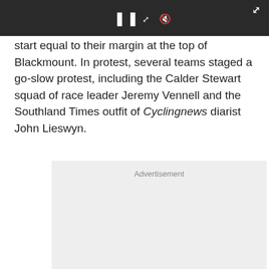[Figure (screenshot): Video player bar with pause button, speaker/volume icons, and expand icon on dark background]
start equal to their margin at the top of Blackmount. In protest, several teams staged a go-slow protest, including the Calder Stewart squad of race leader Jeremy Vennell and the Southland Times outfit of Cyclingnews diarist John Lieswyn.
Advertisement